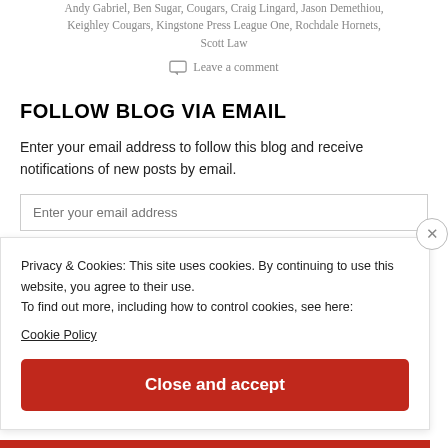Andy Gabriel, Ben Sugar, Cougars, Craig Lingard, Jason Demethiou, Keighley Cougars, Kingstone Press League One, Rochdale Hornets, Scott Law
Leave a comment
FOLLOW BLOG VIA EMAIL
Enter your email address to follow this blog and receive notifications of new posts by email.
Enter your email address
Follow
Privacy & Cookies: This site uses cookies. By continuing to use this website, you agree to their use.
To find out more, including how to control cookies, see here:
Cookie Policy
Close and accept